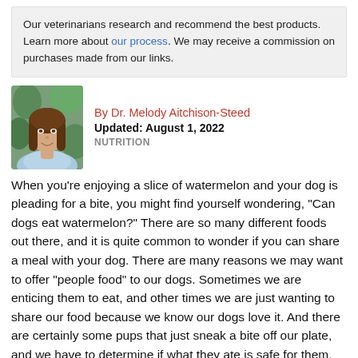Our veterinarians research and recommend the best products. Learn more about our process. We may receive a commission on purchases made from our links.
By Dr. Melody Aitchison-Steed
Updated: August 1, 2022
NUTRITION
[Figure (photo): Headshot photo of Dr. Melody Aitchison-Steed, a woman with long brown hair, wearing a light blue top, with a green leafy background.]
When you’re enjoying a slice of watermelon and your dog is pleading for a bite, you might find yourself wondering, “Can dogs eat watermelon?” There are so many different foods out there, and it is quite common to wonder if you can share a meal with your dog. There are many reasons we may want to offer “people food” to our dogs. Sometimes we are enticing them to eat, and other times we are just wanting to share our food because we know our dogs love it. And there are certainly some pups that just sneak a bite off our plate, and we have to determine if what they ate is safe for them.